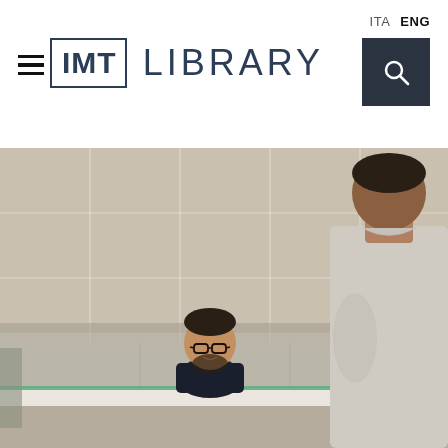ITA  ENG
[Figure (logo): IMT Library logo with hamburger menu icon, IMT in a box, and LIBRARY text]
[Figure (photo): Library reception desk scene: a male librarian wearing glasses and dark shirt sits behind a glass-topped counter, speaking with a visitor seen from behind on the right, against a beige tiled wall background]